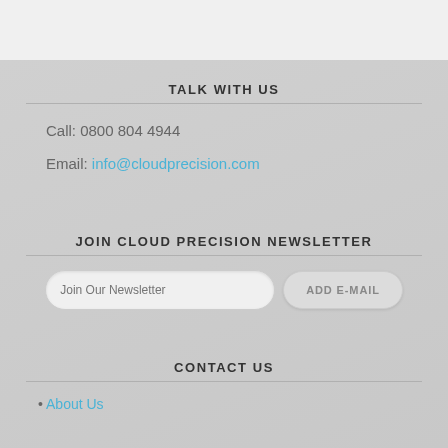TALK WITH US
Call: 0800 804 4944
Email: info@cloudprecision.com
JOIN CLOUD PRECISION NEWSLETTER
Join Our Newsletter
ADD E-MAIL
CONTACT US
About Us